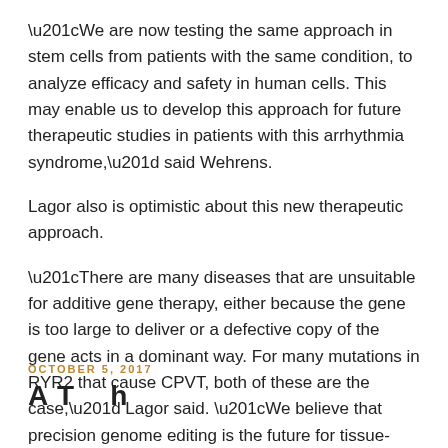“We are now testing the same approach in stem cells from patients with the same condition, to analyze efficacy and safety in human cells. This may enable us to develop this approach for future therapeutic studies in patients with this arrhythmia syndrome,” said Wehrens.
Lagor also is optimistic about this new therapeutic approach.
“There are many diseases that are unsuitable for additive gene therapy, either because the gene is too large to deliver or a defective copy of the gene acts in a dominant way. For many mutations in RYR2 that cause CPVT, both of these are the case,” Lagor said. “We believe that precision genome editing is the future for tissue-directed gene therapies, and severe cardiac diseases are an ideal place to start.”
OCTOBER 5, 2017